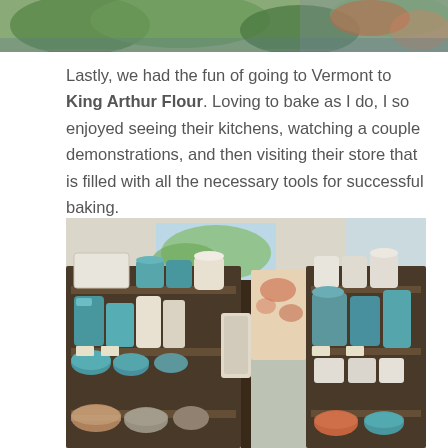[Figure (photo): Top portion of a photo showing greenery and colorful flowers/plants from above]
Lastly, we had the fun of going to Vermont to King Arthur Flour. Loving to bake as I do, I so enjoyed seeing their kitchens, watching a couple demonstrations, and then visiting their store that is filled with all the necessary tools for successful baking.
[Figure (photo): Interior of King Arthur Flour store showing shelves stocked with teal/turquoise and white mugs, bowls, plates, pitchers, and other baking-related kitchenware on dark wooden shelving units. Large windows in background showing greenery outside.]